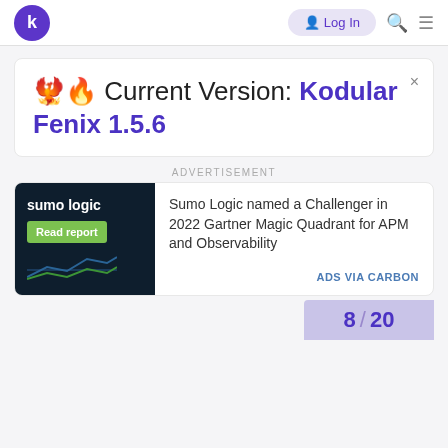k  Log in
🐦‍🔥🔥 Current Version: Kodular Fenix 1.5.6
ADVERTISEMENT
[Figure (screenshot): Sumo Logic advertisement banner with dark navy background, sumo logic logo text, Read report green button, and chart lines]
Sumo Logic named a Challenger in 2022 Gartner Magic Quadrant for APM and Observability
ADS VIA CARBON
8 / 20